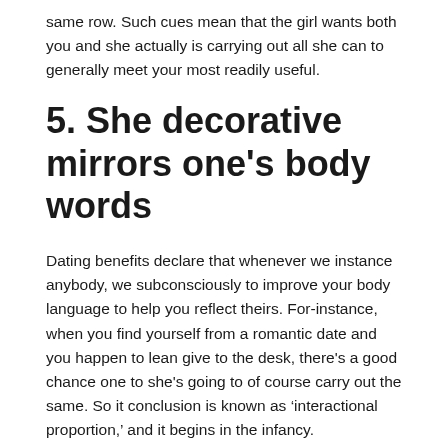same row. Such cues mean that the girl wants both you and she actually is carrying out all she can to generally meet your most readily useful.
5. She decorative mirrors one’s body words
Dating benefits declare that whenever we instance anybody, we subconsciously to improve your body language to help you reflect theirs. For-instance, when you find yourself from a romantic date and you happen to lean give to the desk, there's a good chance one to she's going to of course carry out the same. So it conclusion is known as ‘interactional proportion,’ and it begins in the infancy.
A survey whoever results was recorded on the Diary off Nonverbal Behavior showed that individuals copy the brand new decisions of those he or she is drawn to.